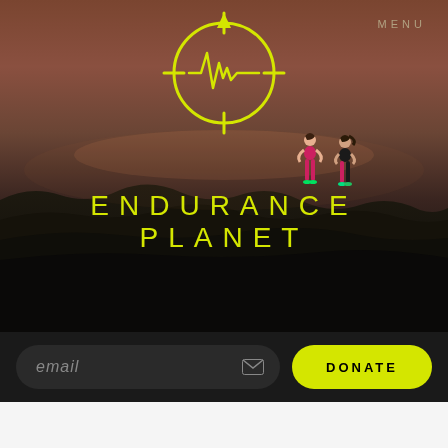[Figure (screenshot): Endurance Planet website hero section with dark background showing two runners on rocky terrain at dusk, yellow/green logo with heartbeat graphic, ENDURANCE PLANET text, MENU link, email input, and DONATE button]
MENU
ENDURANCE PLANET
email
DONATE
PODCASTS